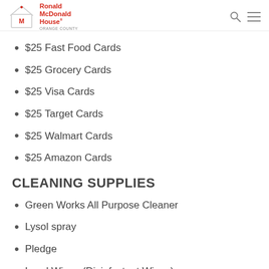Ronald McDonald House Orange County
$25 Fast Food Cards
$25 Grocery Cards
$25 Visa Cards
$25 Target Cards
$25 Walmart Cards
$25 Amazon Cards
CLEANING SUPPLIES
Green Works All Purpose Cleaner
Lysol spray
Pledge
Lysol Wipes (Disinfectant Wipes)
10 gallon trash bags